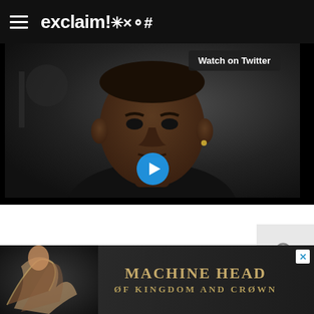exclaim!*x@#
[Figure (screenshot): Video thumbnail showing a close-up of a man's face with 'Watch on Twitter' button overlay and a Twitter/X play button at bottom center]
[Figure (screenshot): Search icon button on light grey background]
[Figure (advertisement): Machine Head 'Of Kingdom and Crown' album advertisement with dark background, decorative figure on left, and stylized gold text]